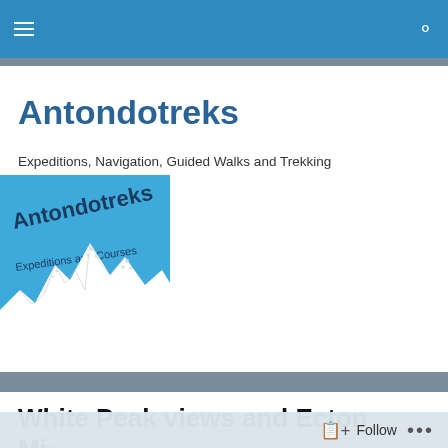Antondotreks navigation bar
Antondotreks
Expeditions, Navigation, Guided Walks and Trekking
[Figure (logo): Antondotreks Expeditions and Courses logo: blue background with text 'Antondotreks' and 'Expeditions and Courses' above an illustration of mountain peaks in black and white.]
White Peak views and Ecton Mine